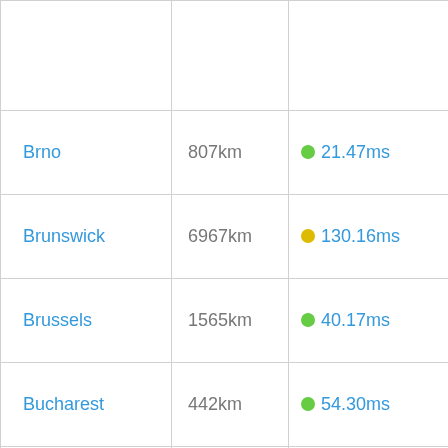| City | Distance | Ping | Loss |
| --- | --- | --- | --- |
|  |  |  |  |
| Brno | 807km | 21.47ms | 38.43% |
| Brunswick | 6967km | 130.16ms | 53.59% |
| Brussels | 1565km | 40.17ms | 39.12% |
| Bucharest | 442km | 54.30ms | 8.19% |
| Budapest | 562km | 21.54ms | 26.76% |